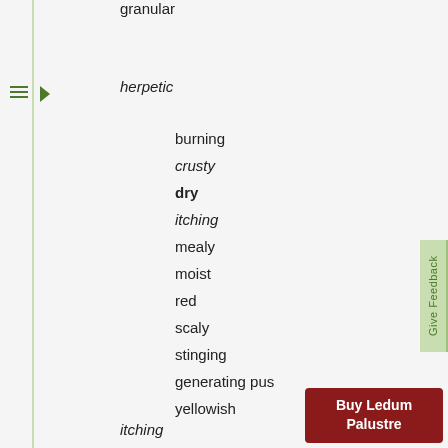granular
herpetic
burning
crusty
dry
itching
mealy
moist
red
scaly
stinging
generating pus
yellowish
itching
Give Feedback
Buy Ledum Palustre